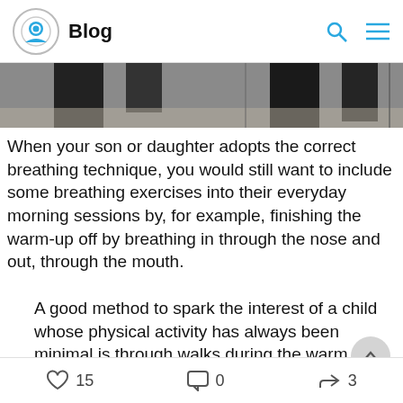Blog
[Figure (photo): Partial photo of a person's legs/lower body in dark clothing on a light floor]
When your son or daughter adopts the correct breathing technique, you would still want to include some breathing exercises into their everyday morning sessions by, for example, finishing the warm-up off by breathing in through the nose and out, through the mouth.
A good method to spark the interest of a child whose physical activity has always been minimal is through walks during the warm periods of the year. During those walks, slow walking can be slowly
15  0  3